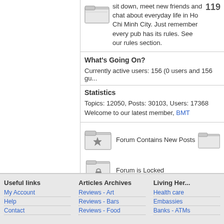sit down, meet new friends and chat about everyday life in Ho Chi Minh City. Just remember every pub has its rules. See our rules section.
119
What's Going On?
Currently active users: 156 (0 users and 156 guests)
Statistics
Topics: 12050, Posts: 30103, Users: 17368
Welcome to our latest member, BMT
Forum Contains New Posts
Forum is Locked
Useful links
My Account
Help
Contact
Articles Archives
Reviews - Art
Reviews - Bars
Reviews - Food
Living Here
Health care
Embassies
Banks - ATMs